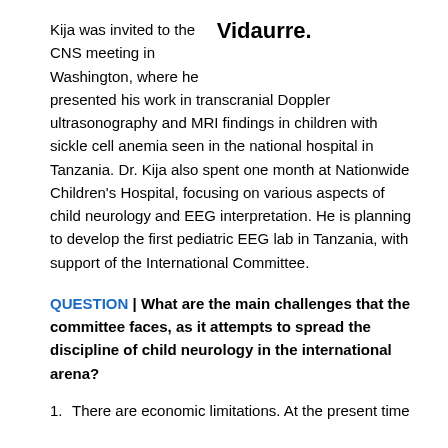Kija was invited to the CNS meeting in Washington, where he presented his work in transcranial Doppler ultrasonography and MRI findings in children with sickle cell anemia seen in the national hospital in Tanzania. Dr. Kija also spent one month at Nationwide Children's Hospital, focusing on various aspects of child neurology and EEG interpretation. He is planning to develop the first pediatric EEG lab in Tanzania, with support of the International Committee.
Vidaurre.
QUESTION | What are the main challenges that the committee faces, as it attempts to spread the discipline of child neurology in the international arena?
1. There are economic limitations. At the present time